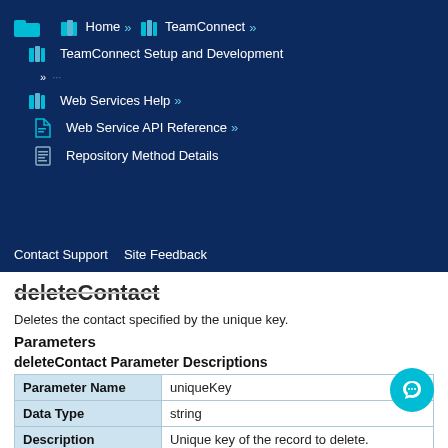Home » TeamConnect » TeamConnect Setup and Development » Web Services Help » Web Service API Reference » Repository Method Details
Contact Support   Site Feedback
deleteContact
Deletes the contact specified by the unique key.
Parameters
deleteContact Parameter Descriptions
| Parameter Name | uniqueKey |
| --- | --- |
| Data Type | string |
| Description | Unique key of the record to delete. |
Response